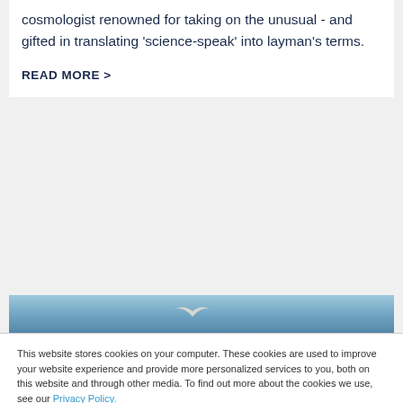cosmologist renowned for taking on the unusual - and gifted in translating 'science-speak' into layman's terms.
READ MORE >
[Figure (photo): Partial view of a bird or wildlife photo with blue sky background]
This website stores cookies on your computer. These cookies are used to improve your website experience and provide more personalized services to you, both on this website and through other media. To find out more about the cookies we use, see our Privacy Policy.

If you decline, your information won't be tracked when you visit our site. But in order to comply with your preferences, we'll have to use just one tiny cookie so that you're not asked to make this choice again.